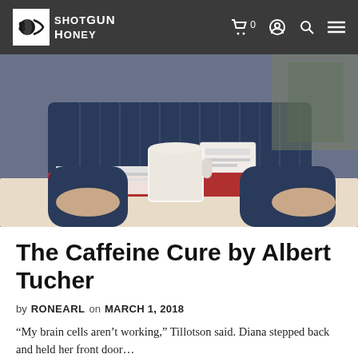SHOTGUN HONEY — navigation bar with logo, cart (0), account, search, menu icons
[Figure (photo): A man in a dark blue striped shirt sitting at a table with a white coffee mug, papers, and red folders in front of him. He has a name badge on his shirt. The photo is cropped just below his chin.]
The Caffeine Cure by Albert Tucher
by RONEARL on MARCH 1, 2018
“My brain cells aren’t working,” Tillotson said. Diana stepped back and held her front door…